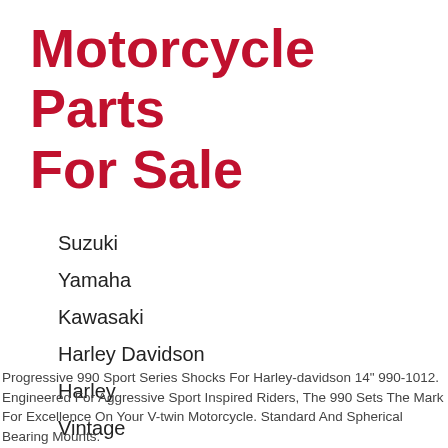Motorcycle Parts For Sale
Suzuki
Yamaha
Kawasaki
Harley Davidson
Harley
Vintage
Progressive 990 Sport Series Shocks For Harley-davidson 14" 990-1012. Engineered For Aggressive Sport Inspired Riders, The 990 Sets The Mark For Excellence On Your V-twin Motorcycle. Standard And Spherical Bearing Mounts.